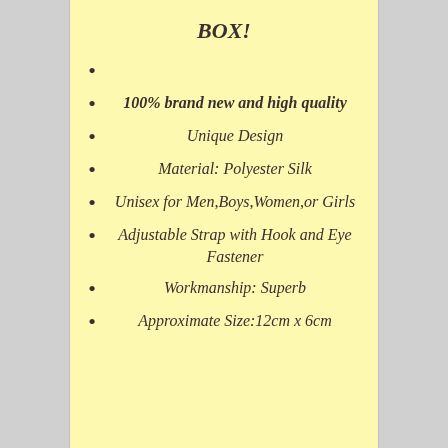BOX!
100% brand new and high quality
Unique Design
Material: Polyester Silk
Unisex for Men,Boys,Women,or Girls
Adjustable Strap with Hook and Eye Fastener
Workmanship: Superb
Approximate Size:12cm x 6cm